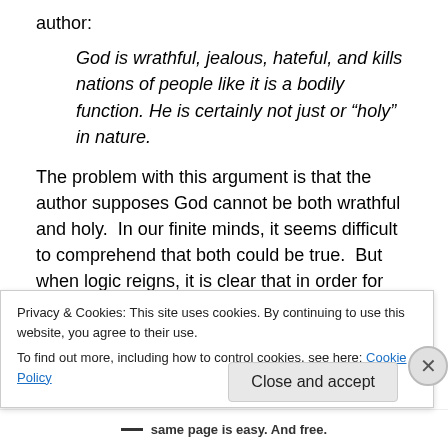author:
God is wrathful, jealous, hateful, and kills nations of people like it is a bodily function. He is certainly not just or “holy” in nature.
The problem with this argument is that the author supposes God cannot be both wrathful and holy.  In our finite minds, it seems difficult to comprehend that both could be true.  But when logic reigns, it is clear that in order for God to be holy, He must also be wrathful.  A god who is indifferent to the sin of His created beings is not a
Privacy & Cookies: This site uses cookies. By continuing to use this website, you agree to their use.
To find out more, including how to control cookies, see here: Cookie Policy
Close and accept
same page is easy. And free.